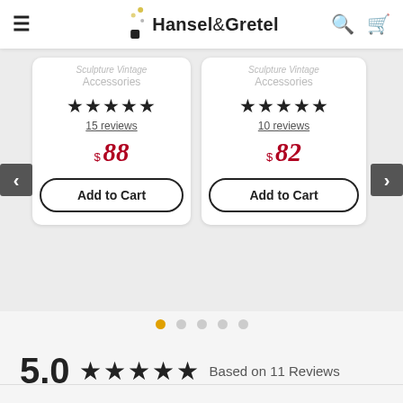Hansel & Gretel
[Figure (screenshot): Two product cards side by side showing Sculpture Vintage Accessories category, star ratings (15 reviews $88, 10 reviews $82), and Add to Cart buttons. Navigation arrows on left and right.]
● ○ ○ ○ ○ (carousel dots indicator, first dot active/gold)
5.0 ★★★★★ Based on 11 Reviews